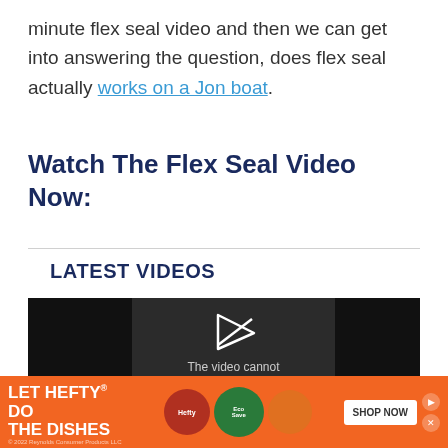minute flex seal video and then we can get into answering the question, does flex seal actually works on a Jon boat.
Watch The Flex Seal Video Now:
LATEST VIDEOS
[Figure (screenshot): Video player showing error message 'The video cannot be played in this browser' with a play button icon on dark background]
[Figure (photo): Advertisement banner: LET HEFTY DO THE DISHES with Hefty and EcoSave product images and SHOP NOW button on orange background]